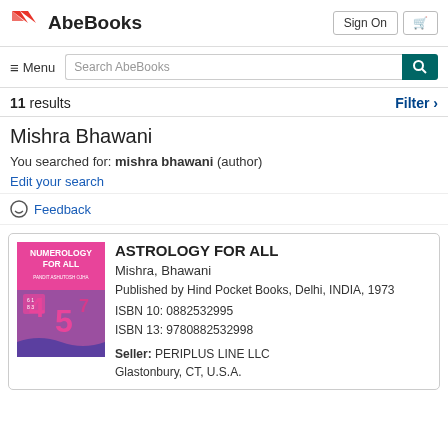[Figure (logo): AbeBooks logo with red bird/wing icon and bold text 'AbeBooks']
Sign On | Cart
≡ Menu  Search AbeBooks
11 results   Filter >
Mishra Bhawani
You searched for: mishra bhawani (author)
Edit your search
Feedback
ASTROLOGY FOR ALL
Mishra, Bhawani
Published by Hind Pocket Books, Delhi, INDIA, 1973
ISBN 10: 0882532995
ISBN 13: 9780882532998
Seller: PERIPLUS LINE LLC
Glastonbury, CT, U.S.A.
[Figure (photo): Book cover of 'Numerology For All' by Pandit Ashutosh Ojha, showing colorful numbers on a pink/purple background]